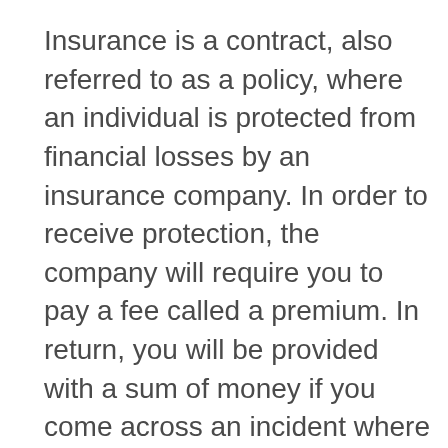Insurance is a contract, also referred to as a policy, where an individual is protected from financial losses by an insurance company. In order to receive protection, the company will require you to pay a fee called a premium. In return, you will be provided with a sum of money if you come across an incident where you suffer financial losses, and the premium you pay covers the incident.